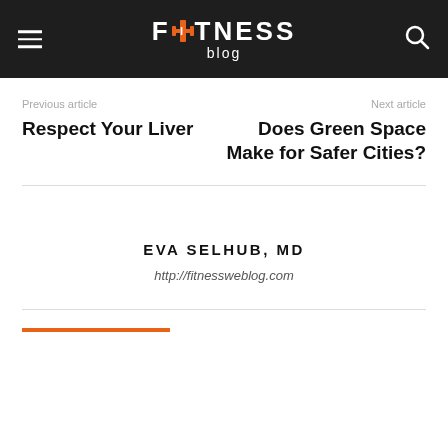FITNESS blog
Previous article
Respect Your Liver
Next article
Does Green Space Make for Safer Cities?
EVA SELHUB, MD
http://fitnessweblog.com